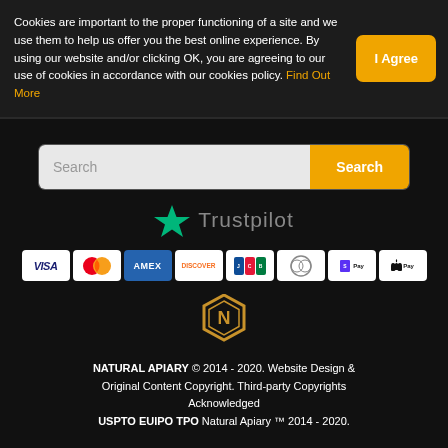Cookies are important to the proper functioning of a site and we use them to help us offer you the best online experience. By using our website and/or clicking OK, you are agreeing to our use of cookies in accordance with our cookies policy. Find Out More
Search
[Figure (logo): Trustpilot logo with green star and grey Trustpilot text]
[Figure (other): Payment method icons: VISA, Mastercard, AMEX, DISCOVER, JCB, Diners Club, Shopify Pay, Apple Pay]
[Figure (logo): Natural Apiary hexagonal N logo in gold/amber]
NATURAL APIARY © 2014 - 2020. Website Design & Original Content Copyright. Third-party Copyrights Acknowledged USPTO EUIPO TPO Natural Apiary ™ 2014 - 2020.